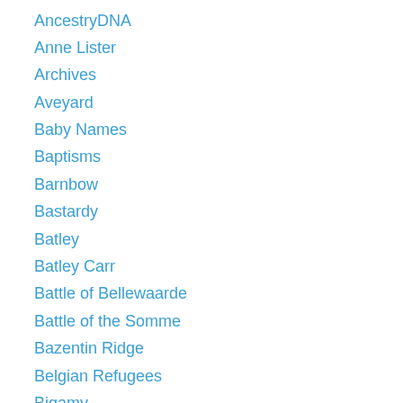AncestryDNA
Anne Lister
Archives
Aveyard
Baby Names
Baptisms
Barnbow
Bastardy
Batley
Batley Carr
Battle of Bellewaarde
Battle of the Somme
Bazentin Ridge
Belgian Refugees
Bigamy
Birkenshaw
Birstall
Birth Certificates
Bishopwearmouth
Blogging